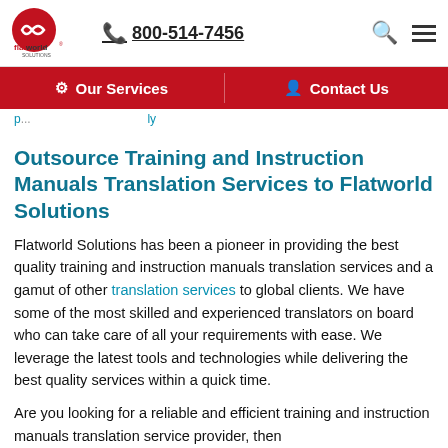[Figure (logo): Flatworld Solutions logo — red infinity/circle icon with 'flatworld solutions' text, followed by phone number 800-514-7456 and hamburger/search icons]
[Figure (screenshot): Navigation bar with dark red background showing 'Our Services' and 'Contact Us' menu items]
p... ...ly
Outsource Training and Instruction Manuals Translation Services to Flatworld Solutions
Flatworld Solutions has been a pioneer in providing the best quality training and instruction manuals translation services and a gamut of other translation services to global clients. We have some of the most skilled and experienced translators on board who can take care of all your requirements with ease. We leverage the latest tools and technologies while delivering the best quality services within a quick time.
Are you looking for a reliable and efficient training and instruction manuals translation service provider, then